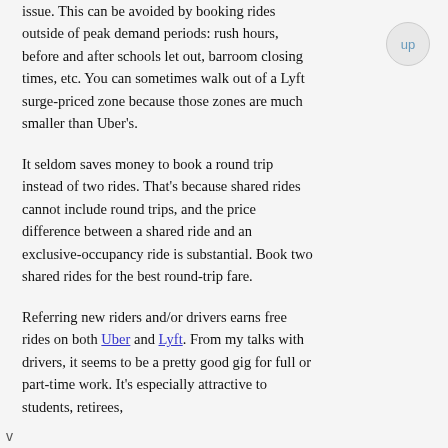issue. This can be avoided by booking rides outside of peak demand periods: rush hours, before and after schools let out, barroom closing times, etc. You can sometimes walk out of a Lyft surge-priced zone because those zones are much smaller than Uber's.
It seldom saves money to book a round trip instead of two rides. That's because shared rides cannot include round trips, and the price difference between a shared ride and an exclusive-occupancy ride is substantial. Book two shared rides for the best round-trip fare.
Referring new riders and/or drivers earns free rides on both Uber and Lyft. From my talks with drivers, it seems to be a pretty good gig for full or part-time work. It's especially attractive to students, retirees,